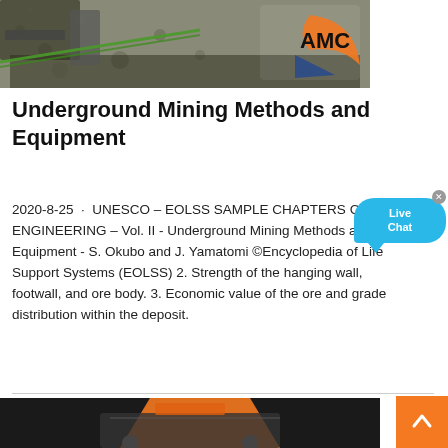[Figure (photo): Mining machinery and gravel processing equipment with AMC logo overlay showing orange arc and blue triangle]
Underground Mining Methods and Equipment
2020-8-25 · UNESCO – EOLSS SAMPLE CHAPTERS CIVIL ENGINEERING – Vol. II - Underground Mining Methods and Equipment - S. Okubo and J. Yamatomi ©Encyclopedia of Life Support Systems (EOLSS) 2. Strength of the hanging wall, footwall, and ore body. 3. Economic value of the ore and grade distribution within the deposit.
[Figure (photo): Mining equipment machinery photo at bottom of page, showing orange and black machinery]